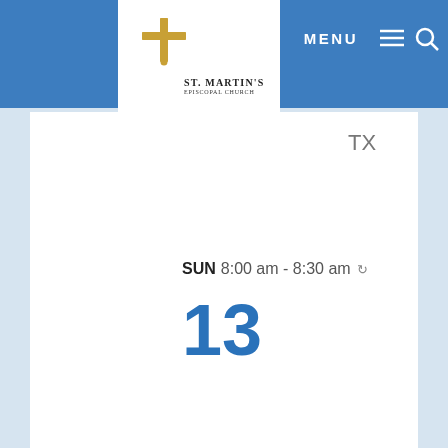St. Martin's Episcopal Church — MENU
TX
SUN 8:00 am - 8:30 am
[Figure (photo): Thumbnail photo of a cathedral with trees and blue sky]
13
Traditional Sunday Service – 8 a.m.